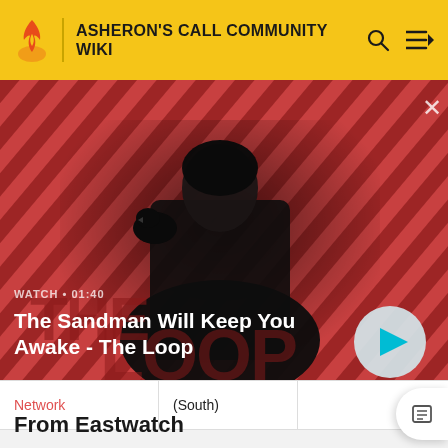ASHERON'S CALL COMMUNITY WIKI
[Figure (screenshot): Video thumbnail banner showing a dark-cloaked figure with a raven on shoulder against a red and dark diagonal striped background. Text overlay: 'WATCH · 01:40' and title 'The Sandman Will Keep You Awake - The Loop' with a play button.]
| Network | (South) |  | 43.1W |  |
| --- | --- | --- | --- | --- |
From Eastwatch